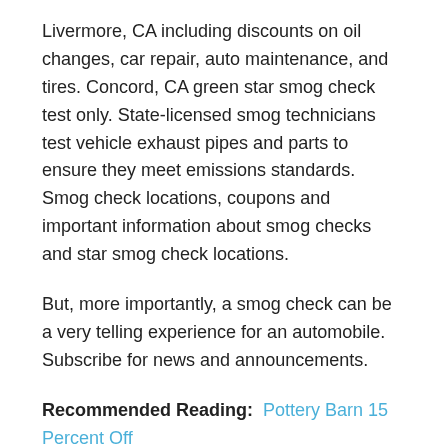Livermore, CA including discounts on oil changes, car repair, auto maintenance, and tires. Concord, CA green star smog check test only. State-licensed smog technicians test vehicle exhaust pipes and parts to ensure they meet emissions standards. Smog check locations, coupons and important information about smog checks and star smog check locations.
But, more importantly, a smog check can be a very telling experience for an automobile. Subscribe for news and announcements.
Recommended Reading: Pottery Barn 15 Percent Off
Highly Rated Smog Check & Auto Repair In Dublin